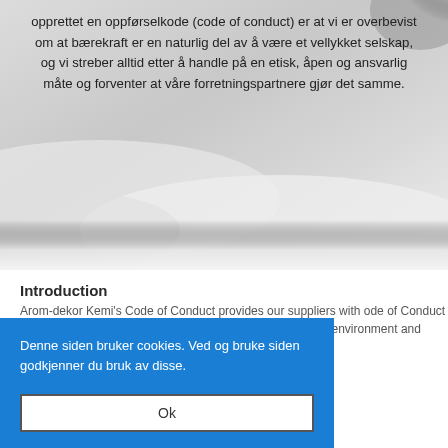[Figure (photo): Misty cloudy background image with a partial hand/figure silhouette in the top right corner]
opprettet en oppførselkode (code of conduct) er at vi er overbevist om at bærekraft er en naturlig del av å være et vellykket selskap, og vi streber alltid etter å handle på en etisk, åpen og ansvarlig måte og forventer at våre forretningspartnere gjør det samme.
Introduction
Arom-dekor Kemi's Code of Conduct provides our suppliers with ode of Conduct is adopted, such as the orruption Initiative iatives set out e environment and suppliers to establish
Denne siden bruker cookies. Ved og bruke siden godkjenner du bruk av disse.
Ok